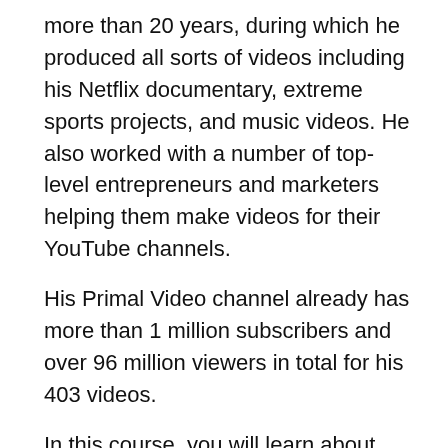more than 20 years, during which he produced all sorts of videos including his Netflix documentary, extreme sports projects, and music videos. He also worked with a number of top-level entrepreneurs and marketers helping them make videos for their YouTube channels.
His Primal Video channel already has more than 1 million subscribers and over 96 million viewers in total for his 403 videos.
In this course, you will learn about tons of video marketing tactics, tips, and strategies as well as YouTube ranking strategies to help you get 10X results from your videos.